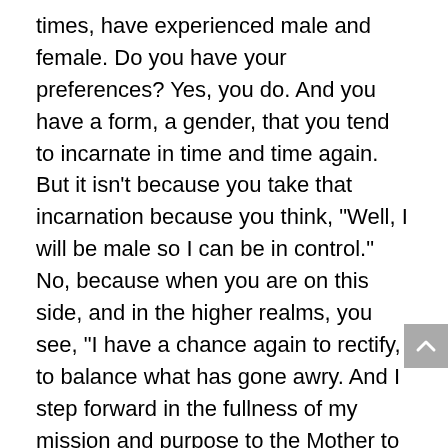times, have experienced male and female. Do you have your preferences? Yes, you do. And you have a form, a gender, that you tend to incarnate in time and time again. But it isn't because you take that incarnation because you think, "Well, I will be male so I can be in control." No, because when you are on this side, and in the higher realms, you see, "I have a chance again to rectify, to balance what has gone awry. And I step forward in the fullness of my mission and purpose to the Mother to do so."
Women, my beloved sisters, of Gaia and far beyond, I beckon to you this night to flower, to allow your fertility — and I do not simply mean your ability to birth; I mean your creative fertility, your brilliance, your gentleness, your